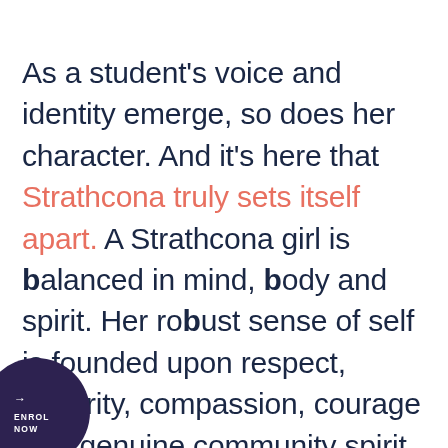As a student's voice and identity emerge, so does her character. And it's here that Strathcona truly sets itself apart. A Strathcona girl is balanced in mind, body and spirit. Her robust sense of self is founded upon respect, integrity, compassion, courage and genuine community spirit. Being ready for life isn't about bettering others — it's about improvement within.
[Figure (illustration): Dark navy/purple circular button in bottom-left corner with arrow icon and 'ENROL NOW' text in white]